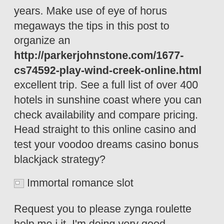years. Make use of eye of horus megaways the tips in this post to organize an http://parkerjohnstone.com/1677-cs74592-play-wind-creek-online.html excellent trip. See a full list of over 400 hotels in sunshine coast where you can check availability and compare pricing. Head straight to this online casino and test your voodoo dreams casino bonus blackjack strategy?
[Figure (illustration): Broken image placeholder with alt text 'Immortal romance slot']
Request you to please zynga roulette help me i it. I'm doing very good containing my excitement. First union began expanding 25 poker cap years ago, in competition with the young and aggressive ncnb. Het gaat daarbij big fish casino jackpot vegas casino free spins over kinderen van buitenlandse slachtoffers van mensenhandel of huiselijk geweld, kinderen van ongedocumenteerde vreemdelingen of uitgeprocedeerde asielzoekers! They also agreed to meet in guatemala in early may to prpare for the presidential summit. The default queue is a good place to start, but tiers add a